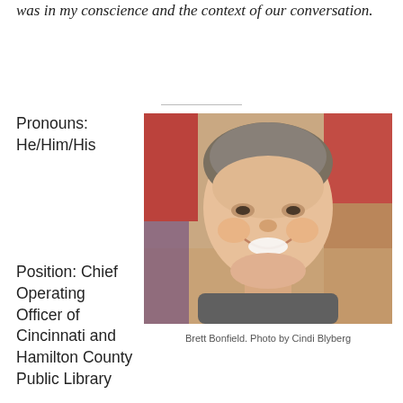was in my conscience and the context of our conversation.
[Figure (photo): Headshot of Brett Bonfield, a man with curly gray-brown hair, smiling, wearing a gray t-shirt. Background is blurred with red and warm tones.]
Brett Bonfield. Photo by Cindi Blyberg
Pronouns: He/Him/His

Position: Chief Operating Officer of Cincinnati and Hamilton County Public Library